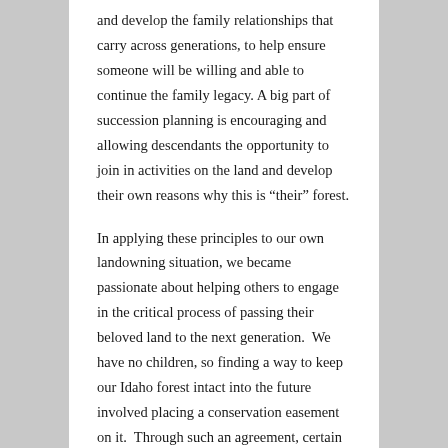and develop the family relationships that carry across generations, to help ensure someone will be willing and able to continue the family legacy. A big part of succession planning is encouraging and allowing descendants the opportunity to join in activities on the land and develop their own reasons why this is “their” forest.
In applying these principles to our own landowning situation, we became passionate about helping others to engage in the critical process of passing their beloved land to the next generation.  We have no children, so finding a way to keep our Idaho forest intact into the future involved placing a conservation easement on it.  Through such an agreement, certain chosen rights to the property (usually subdivision and most development rights) are transferred to a recognized land trust or conservancy organization that holds the rights in perpetuity.  The land remains our private property and can be sold or deeded if and when we desire, but it will stay